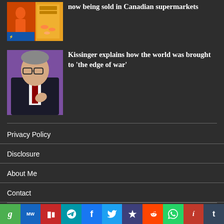now being sold in Canadian supermarkets
[Figure (photo): Book/product image thumbnails with colorful covers]
Kissinger explains how the world was brought to ‘the edge of war’
[Figure (photo): Photo of Henry Kissinger, elderly man in dark suit with red tie against purple background]
Privacy Policy
Disclosure
About Me
Contact
[Figure (infographic): Social media sharing buttons bar: g (green), MW (dark blue), P (red), Telegram (teal), f Facebook (blue), Twitter bird (light blue), Diaspora star (navy), Reddit alien (orange), WhatsApp (green), i (dark red), t Tumblr (cobalt)]